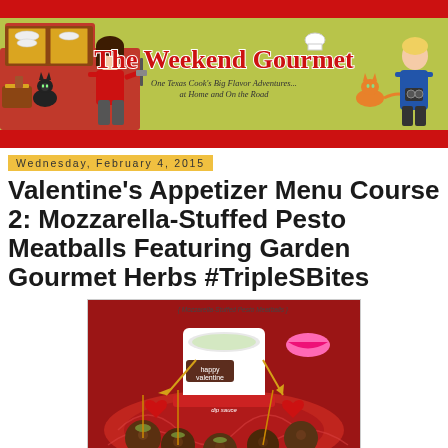[Figure (illustration): Blog banner for 'The Weekend Gourmet' showing cartoon kitchen characters, a woman in red and a man in blue, with olive/yellow-green background and red borders. Text reads 'The Weekend Gourmet' and subtitle 'One Texas Cook's Big Flavor Adventures... at Home and On the Road']
Wednesday, February 4, 2015
Valentine's Appetizer Menu Course 2: Mozzarella-Stuffed Pesto Meatballs Featuring Garden Gourmet Herbs #TripleSBites
[Figure (photo): Photo of Mozzarella-Stuffed Pesto Meatballs on a red decorative plate with Valentine's Day decorations including a white dipping sauce cup, happy valentine sign, heart decorations, pink lips photo prop, and arrow decorations. Caption reads 'Mozzarella-Stuffed Pesto Meatballs']